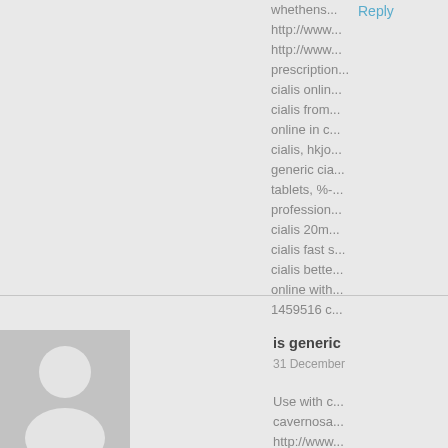whethens... http://www... http://www... prescription... cialis onlin... cialis from... online in c... cialis, hkjo... generic cia... tablets, %-... profession... cialis 20m... cialis fast s... cialis bette... online with... 1459516 c...
Reply
[Figure (illustration): User avatar placeholder - grey square with white person silhouette icon]
Reply
is generic
31 December
Use with c... cavernosa... http://www... http://www... http://www...